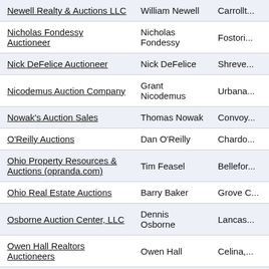| Newell Realty & Auctions LLC | William Newell | Carrolit... |
| Nicholas Fondessy Auctioneer | Nicholas Fondessy | Fostori... |
| Nick DeFelice Auctioneer | Nick DeFelice | Shreve... |
| Nicodemus Auction Company | Grant Nicodemus | Urbana... |
| Nowak's Auction Sales | Thomas Nowak | Convoy... |
| O'Reilly Auctions | Dan O'Reilly | Chardo... |
| Ohio Property Resources & Auctions (opranda.com) | Tim Feasel | Bellefor... |
| Ohio Real Estate Auctions | Barry Baker | Grove C... |
| Osborne Auction Center, LLC | Dennis Osborne | Lancas... |
| Owen Hall Realtors Auctioneers | Owen Hall | Celina,... |
| Ozzy's Antiques,Collectibles & More... | Lynnae Copen | Copley,... |
| Pamela Rose Auction Company, LLC | Pamela Rose | Whitehe... |
| Paranzino Brothers Auctioneers | Tom Paranzino | North L... |
| Pete Howes Auction Service | Pete Howes | Windso... |
| Peters Auctioneering | Aaron Peters | Elida, O... |
| Phil Cole Real Estate & Auction | Melinda Cole | Findlay... |